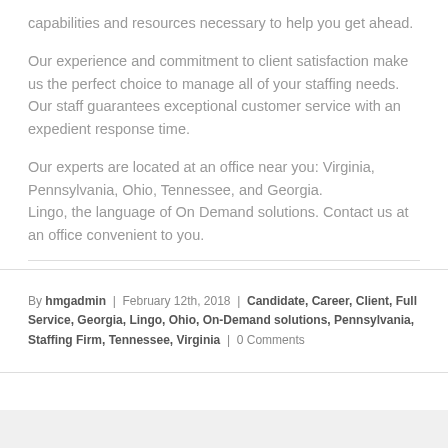capabilities and resources necessary to help you get ahead.
Our experience and commitment to client satisfaction make us the perfect choice to manage all of your staffing needs. Our staff guarantees exceptional customer service with an expedient response time.
Our experts are located at an office near you: Virginia, Pennsylvania, Ohio, Tennessee, and Georgia. Lingo, the language of On Demand solutions. Contact us at an office convenient to you.
By hmgadmin | February 12th, 2018 | Candidate, Career, Client, Full Service, Georgia, Lingo, Ohio, On-Demand solutions, Pennsylvania, Staffing Firm, Tennessee, Virginia | 0 Comments